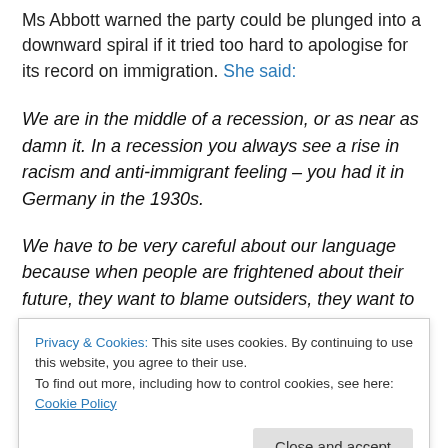Ms Abbott warned the party could be plunged into a downward spiral if it tried too hard to apologise for its record on immigration. She said:
We are in the middle of a recession, or as near as damn it. In a recession you always see a rise in racism and anti-immigrant feeling – you had it in Germany in the 1930s.
We have to be very careful about our language because when people are frightened about their future, they want to blame outsiders, they want to blame the other.
Privacy & Cookies: This site uses cookies. By continuing to use this website, you agree to their use. To find out more, including how to control cookies, see here: Cookie Policy
And this is the crux of the debate. The immigration polemic